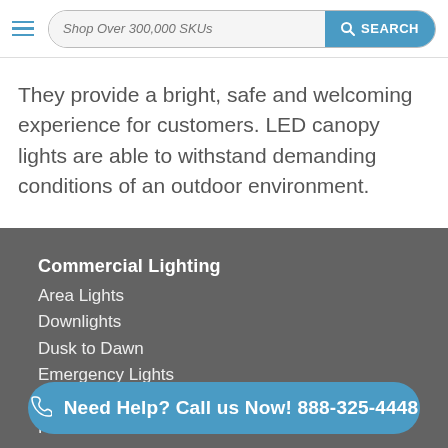Shop Over 300,000 SKUs  SEARCH
They provide a bright, safe and welcoming experience for customers. LED canopy lights are able to withstand demanding conditions of an outdoor environment.
Commercial Lighting
Area Lights
Downlights
Dusk to Dawn
Emergency Lights
Ex
Flat Panels
Need Help? Call us Now! 888-325-4448